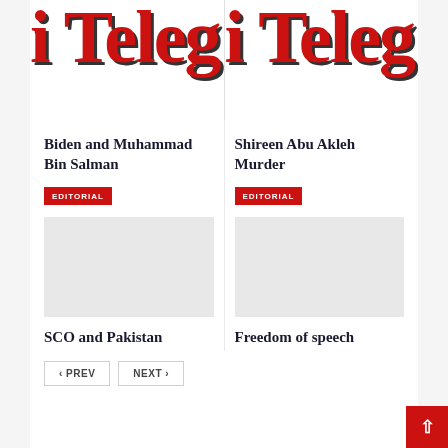[Figure (logo): Partial newspaper/magazine logo showing 'i Teleg' in large bold red serif font with dark shadow, left column]
[Figure (logo): Partial newspaper/magazine logo showing 'i Teleg' in large bold red serif font with dark shadow, right column]
Biden and Muhammad Bin Salman
EDITORIAL
[Figure (photo): Thumbnail image placeholder for Biden and Muhammad Bin Salman article]
Shireen Abu Akleh Murder
EDITORIAL
[Figure (photo): Thumbnail image placeholder for Shireen Abu Akleh Murder article]
SCO and Pakistan
Freedom of speech
‹ PREV  NEXT ›